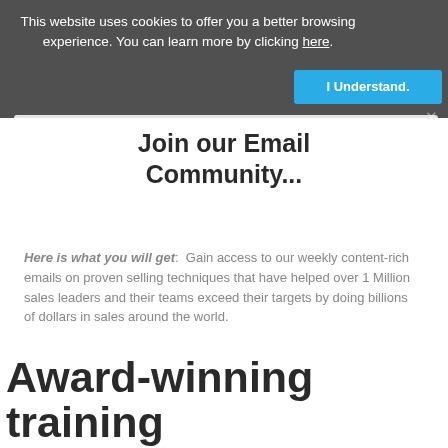This website uses cookies to offer you a better browsing experience. You can learn more by clicking here.
I Understand.
Join our Email Community...
Here is what you will get: Gain access to our weekly content-rich emails on proven selling techniques that have helped over 1 Million sales leaders and their teams exceed their targets by doing billions of dollars in sales around the world.
Award-winning training company.
Sandler Training is one of the leading sales training and leadership development companies in the world.
See all awards